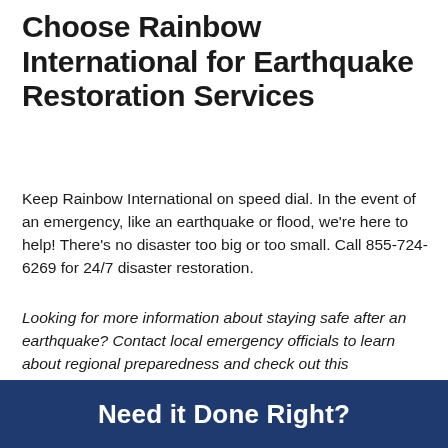Choose Rainbow International for Earthquake Restoration Services
Keep Rainbow International on speed dial. In the event of an emergency, like an earthquake or flood, we're here to help! There's no disaster too big or too small. Call 855-724-6269 for 24/7 disaster restoration.
Looking for more information about staying safe after an earthquake? Contact local emergency officials to learn about regional preparedness and check out this earthquake safety information from the American Red Cross.
Need it Done Right?